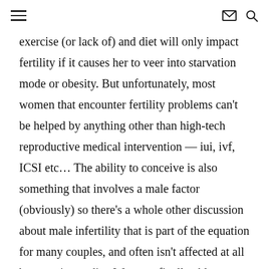≡  ✉ 🔍
exercise (or lack of) and diet will only impact fertility if it causes her to veer into starvation mode or obesity. But unfortunately, most women that encounter fertility problems can't be helped by anything other than high-tech reproductive medical intervention — iui, ivf, ICSI etc… The ability to conceive is also something that involves a male factor (obviously) so there's a whole other discussion about male infertility that is part of the equation for many couples, and often isn't affected at all by exercise or diet. We were finally able to get pregnant after 6 years of infertility treatments because we found the right clinic that had the right-for-me protocol. I'm now in my first